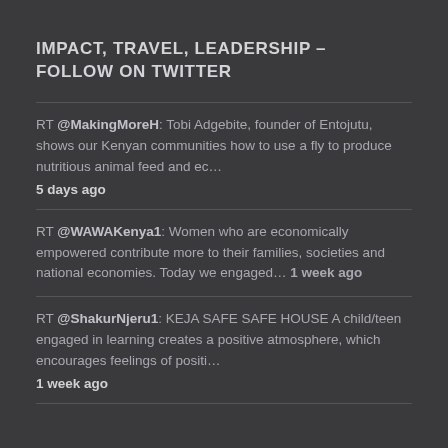IMPACT, TRAVEL, LEADERSHIP – FOLLOW ON TWITTER
RT @MakingMoreH: Tobi Adgebite, founder of Entojutu, shows our Kenyan communities how to use a fly to produce nutritious animal feed and ec…
5 days ago
RT @WAWAKenya1: Women who are economically empowered contribute more to their families, societies and national economies. Today we engaged… 1 week ago
RT @ShakurNjeru1: KEJA SAFE SAFE HOUSE A child/teen engaged in learning creates a positive atmosphere, which encourages feelings of positi…
1 week ago